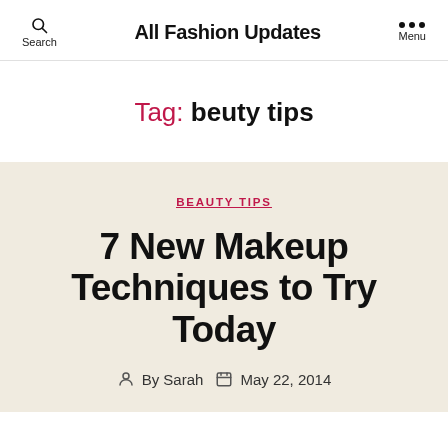All Fashion Updates
Tag: beuty tips
BEAUTY TIPS
7 New Makeup Techniques to Try Today
By Sarah  May 22, 2014